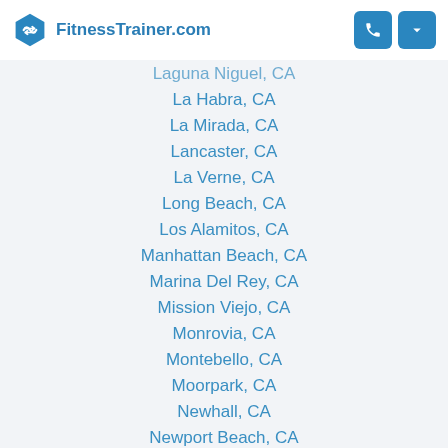FitnessTrainer.com
Laguna Niguel, CA
La Habra, CA
La Mirada, CA
Lancaster, CA
La Verne, CA
Long Beach, CA
Los Alamitos, CA
Manhattan Beach, CA
Marina Del Rey, CA
Mission Viejo, CA
Monrovia, CA
Montebello, CA
Moorpark, CA
Newhall, CA
Newport Beach, CA
Newport Coast, CA
Northridge, CA
Oak Park, CA
Orange, CA
Pacentia, CA
Pacific Palisades, CA